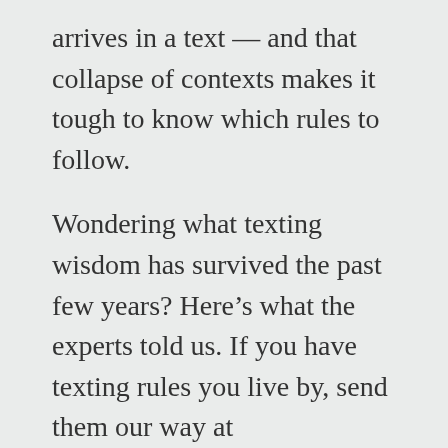arrives in a text — and that collapse of contexts makes it tough to know which rules to follow.
Wondering what texting wisdom has survived the past few years? Here's what the experts told us. If you have texting rules you live by, send them our way at yourhelpdesk@washpost.com.